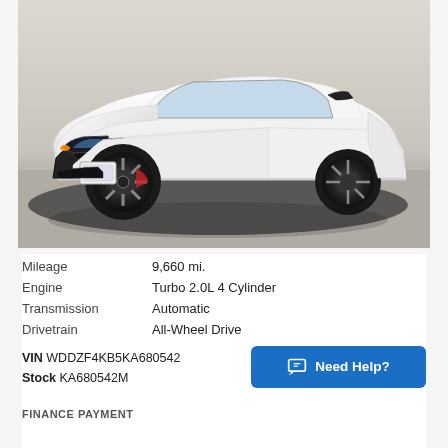[Figure (photo): White Mercedes-Benz sedan (E-Class) photographed from front-three-quarter angle in a dealership showroom with reflective floor. Car has AMG styling package with black alloy wheels and black grille surround.]
| Mileage | 9,660 mi. |
| Engine | Turbo 2.0L 4 Cylinder |
| Transmission | Automatic |
| Drivetrain | All-Wheel Drive |
VIN WDDZF4KB5KA680542
Stock KA680542M
Need Help?
FINANCE PAYMENT